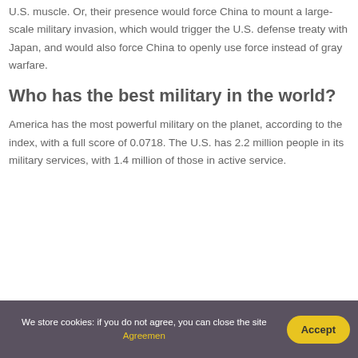U.S. muscle. Or, their presence would force China to mount a large-scale military invasion, which would trigger the U.S. defense treaty with Japan, and would also force China to openly use force instead of gray warfare.
Who has the best military in the world?
America has the most powerful military on the planet, according to the index, with a full score of 0.0718. The U.S. has 2.2 million people in its military services, with 1.4 million of those in active service.
We store cookies: if you do not agree, you can close the site Agreemen